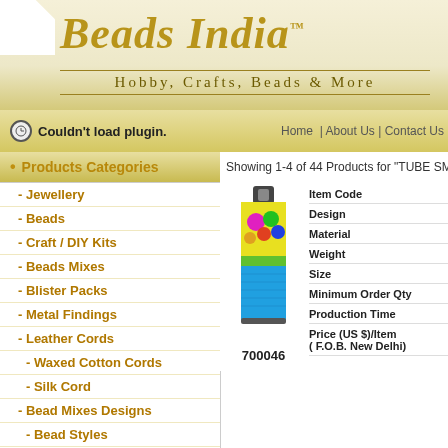Beads India™
Hobby, Crafts, Beads & More
Couldn't load plugin.
Home | About Us | Contact Us
Products Categories
- Jewellery
- Beads
- Craft / DIY Kits
- Beads Mixes
- Blister Packs
- Metal Findings
- Leather Cords
- Waxed Cotton Cords
- Silk Cord
- Bead Mixes Designs
- Bead Styles
- Sequins
Showing 1-4 of 44 Products for "TUBE SM
[Figure (photo): A tube/container of blue beads with colorful label showing item code 700046]
700046
Item Code
Design
Material
Weight
Size
Minimum Order Qty
Production Time
Price (US $)/Item
( F.O.B. New Delhi)